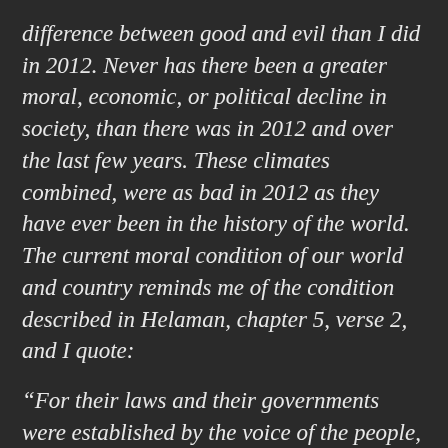difference between good and evil than I did in 2012. Never has there been a greater moral, economic, or political decline in society, than there was in 2012 and over the last few years. These climates combined, were as bad in 2012 as they have ever been in the history of the world. The current moral condition of our world and country reminds me of the condition described in Helaman, chapter 5, verse 2, and I quote:
“For their laws and their governments were established by the voice of the people, and they who chose evil were more numerous than they who chose good, therefore they